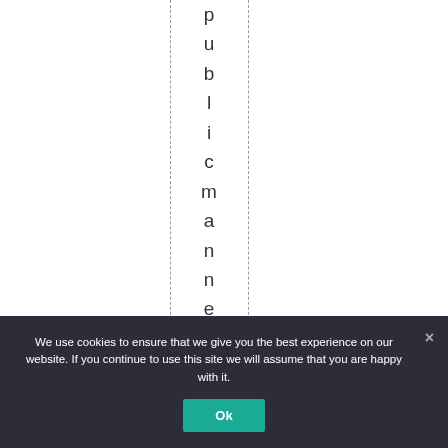public manner will be
We use cookies to ensure that we give you the best experience on our website. If you continue to use this site we will assume that you are happy with it.